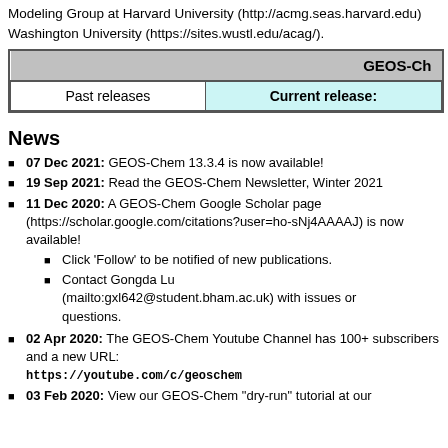Modeling Group at Harvard University (http://acmg.seas.harvard.edu) Washington University (https://sites.wustl.edu/acag/).
|  | GEOS-Ch |
| --- | --- |
| Past releases | Current release: |
News
07 Dec 2021: GEOS-Chem 13.3.4 is now available!
19 Sep 2021: Read the GEOS-Chem Newsletter, Winter 2021
11 Dec 2020: A GEOS-Chem Google Scholar page (https://scholar.google.com/citations?user=ho-sNj4AAAAJ) is now available!
Click 'Follow' to be notified of new publications.
Contact Gongda Lu (mailto:gxl642@student.bham.ac.uk) with issues or questions.
02 Apr 2020: The GEOS-Chem Youtube Channel has 100+ subscribers and a new URL: https://youtube.com/c/geoschem
03 Feb 2020: View our GEOS-Chem "dry-run" tutorial at our